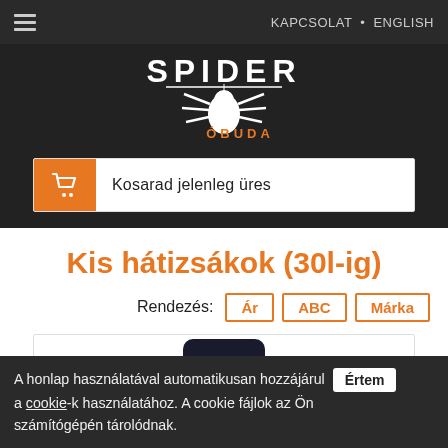KAPCSOLAT • ENGLISH
[Figure (logo): Spider Óbuda logo — white spider illustration with SPIDER text above and ÓBUDA in orange below]
Kosarad jelenleg üres
Kis hátizsákok (30l-ig)
Rendezés: Ár ABC Márka
[Figure (photo): Dark backpack product photo, partially visible at bottom of page]
A honlap használatával automatikusan hozzájárul a cookie-k használatához. A cookie fájlok az Ön számítógépén tárolódnak.